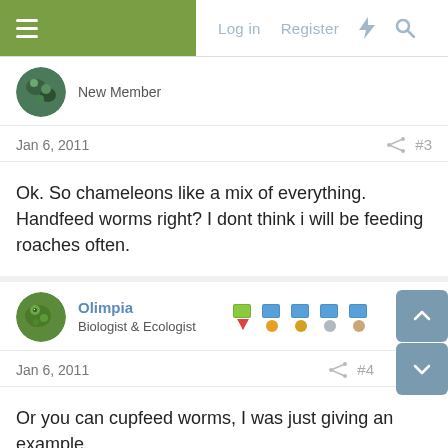Log in  Register
New Member
Jan 6, 2011  #3
Ok. So chameleons like a mix of everything. Handfeed worms right? I dont think i will be feeding roaches often.
Olimpia
Biologist & Ecologist
Jan 6, 2011  #4
Or you can cupfeed worms, I was just giving an example.